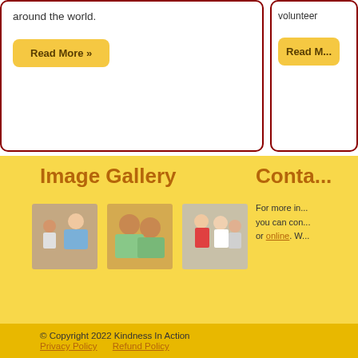around the world.
Read More »
volunteer
Read M...
Image Gallery
Conta...
[Figure (photo): Doctor holding a baby]
[Figure (photo): Two smiling children]
[Figure (photo): People engaged in an activity]
For more in... you can con... or online. W...
© Copyright 2022 Kindness In Action
Privacy Policy    Refund Policy